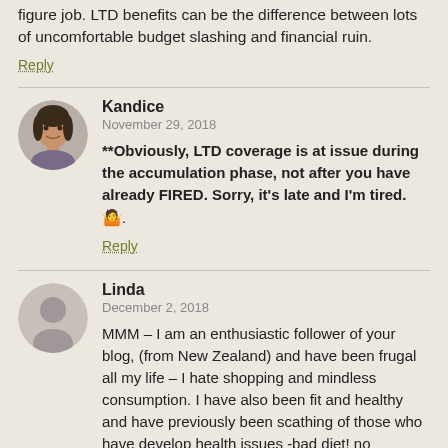figure job. LTD benefits can be the difference between lots of uncomfortable budget slashing and financial ruin.
Reply
Kandice
November 29, 2018
**Obviously, LTD coverage is at issue during the accumulation phase, not after you have already FIRED. Sorry, it's late and I'm tired. 🤷.
Reply
Linda
December 2, 2018
MMM – I am an enthusiastic follower of your blog, (from New Zealand) and have been frugal all my life – I hate shopping and mindless consumption. I have also been fit and healthy and have previously been scathing of those who have develop health issues -bad diet! no exercise! drugs! too much booze!. However, in April this year at 55, I was diagnosed with